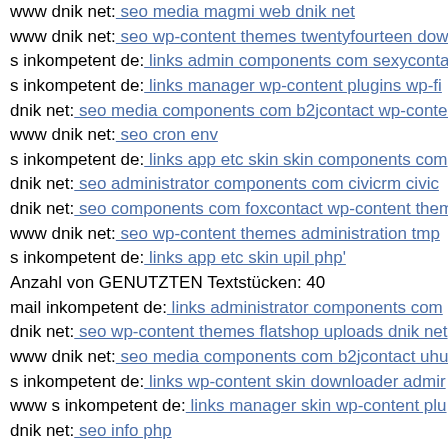www dnik net: seo media magmi web dnik net
www dnik net: seo wp-content themes twentyfourteen dow
s inkompetent de: links admin components com sexyconta
s inkompetent de: links manager wp-content plugins wp-fi
dnik net: seo media components com b2jcontact wp-conten
www dnik net: seo cron env
s inkompetent de: links app etc skin skin components com
dnik net: seo administrator components com civicrm civic
dnik net: seo components com foxcontact wp-content them
www dnik net: seo wp-content themes administration tmp
s inkompetent de: links app etc skin upil php'
Anzahl von GENUTZTEN Textstücken: 40
mail inkompetent de: links administrator components com
dnik net: seo wp-content themes flatshop uploads dnik net
www dnik net: seo media components com b2jcontact uhu
s inkompetent de: links wp-content skin downloader admir
www s inkompetent de: links manager skin wp-content plu
dnik net: seo info php
s inkompetent de: links manager skin http1614247673
s inkompetent de: links manager skin media system js read
dnik net: seo vendor phpunit phpunit src util php eval-stdi